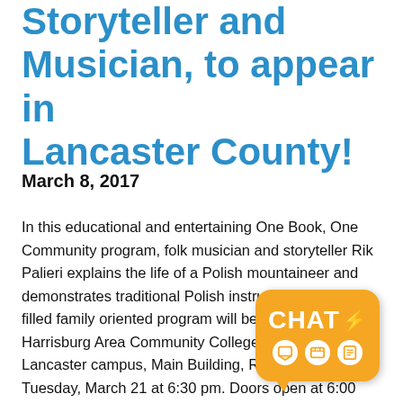Storyteller and Musician, to appear in Lancaster County!
March 8, 2017
In this educational and entertaining One Book, One Community program, folk musician and storyteller Rik Palieri explains the life of a Polish mountaineer and demonstrates traditional Polish instruments.  This fun-filled family oriented program will be held at the Harrisburg Area Community College (HACC), Lancaster campus, Main Building, Room 222 on Tuesday, March 21 at 6:30 pm. Doors open at 6:00 pm.  HACC Lancaster Campus i... 1641 Old Philadelphia Pike, Lancaster, PA 17... is free. A free will offering will help offset exp...
[Figure (other): Orange chat widget button with 'CHAT' label and lightning bolt, plus three circular icons below]